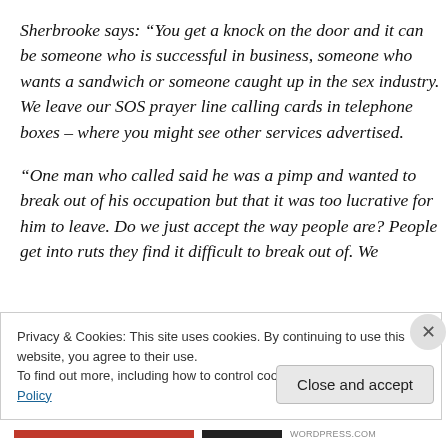Sherbrooke says: “You get a knock on the door and it can be someone who is successful in business, someone who wants a sandwich or someone caught up in the sex industry. We leave our SOS prayer line calling cards in telephone boxes – where you might see other services advertised.
“One man who called said he was a pimp and wanted to break out of his occupation but that it was too lucrative for him to leave. Do we just accept the way people are? People get into ruts they find it difficult to break out of. We
Privacy & Cookies: This site uses cookies. By continuing to use this website, you agree to their use.
To find out more, including how to control cookies, see here: Cookie Policy